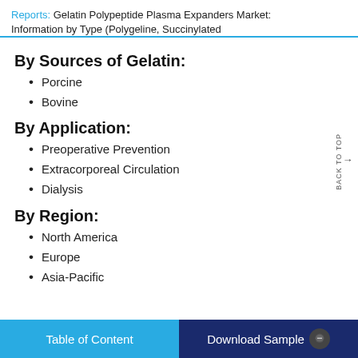Reports: Gelatin Polypeptide Plasma Expanders Market: Information by Type (Polygeline, Succinylated
By Sources of Gelatin:
Porcine
Bovine
By Application:
Preoperative Prevention
Extracorporeal Circulation
Dialysis
By Region:
North America
Europe
Asia-Pacific
Table of Content | Download Sample